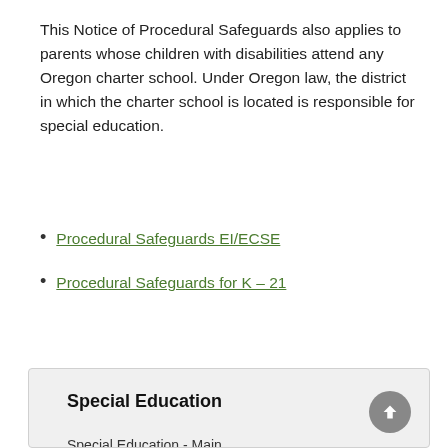This Notice of Procedural Safeguards also applies to parents whose children with disabilities attend any Oregon charter school. Under Oregon law, the district in which the charter school is located is responsible for special education.
Procedural Safeguards EI/ECSE
Procedural Safeguards for K – 21
Special Education
Special Education - Main
Individuals with Disabilities Education Act (IDEA)
Procedural Safeguards